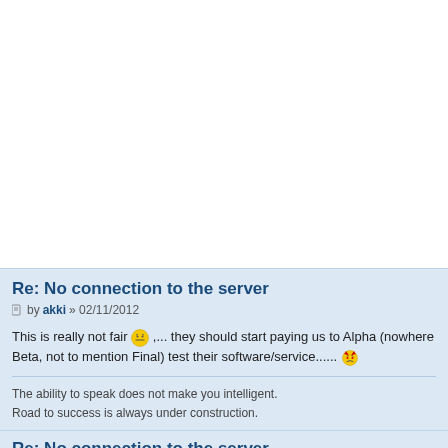Re: No connection to the server
by akki » 02/11/2012
This is really not fair :| ,... they should start paying us to Alpha (nowhere Beta, not to mention Final) test their software/service......
The ability to speak does not make you intelligent.
Road to success is always under construction.
Re: No connection to the server